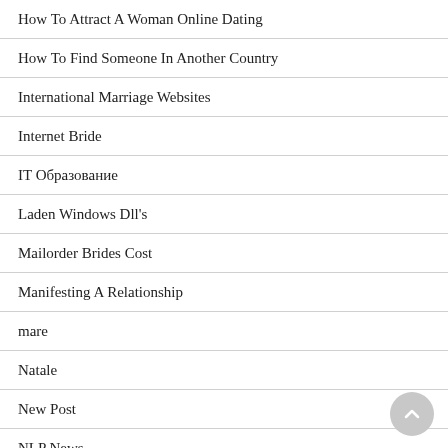How To Attract A Woman Online Dating
How To Find Someone In Another Country
International Marriage Websites
Internet Bride
IT Образование
Laden Windows Dll's
Mailorder Brides Cost
Manifesting A Relationship
mare
Natale
New Post
NLP News